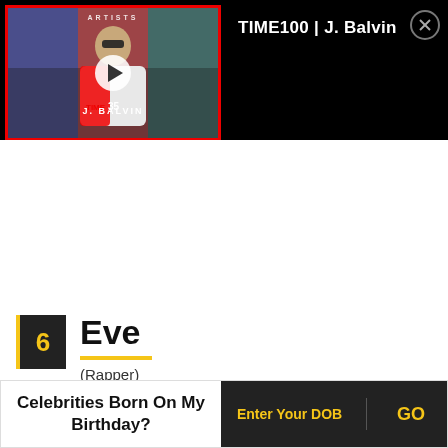[Figure (screenshot): Video thumbnail for TIME100 | J. Balvin with play button overlay, red border frame, artist standing in colorful background]
TIME100 | J. Balvin
6
Eve
(Rapper)
[Figure (photo): Partial photo of Eve, showing top of head/hair]
Celebrities Born On My Birthday?
Enter Your DOB
GO